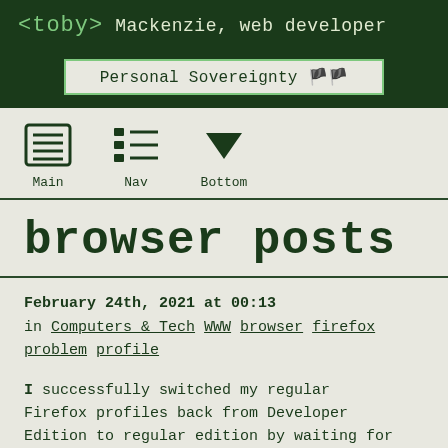<toby> Mackenzie, web developer
Personal Sovereignty 🏴🏴
[Figure (other): Navigation icons: Main (document icon), Nav (list icon), Bottom (down arrow icon)]
browser posts
February 24th, 2021 at 00:13
in Computers & Tech WWW browser firefox problem profile
I successfully switched my regular Firefox profiles back from Developer Edition to regular edition by waiting for the version to update.